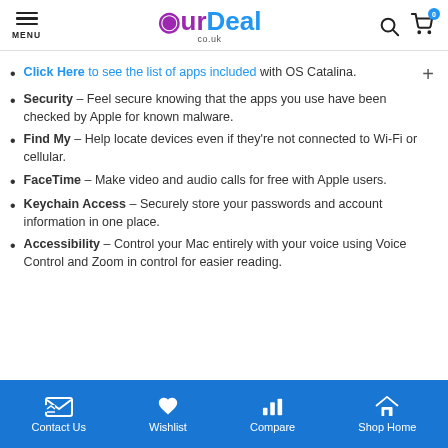MENU | OurDeal co.uk | Search | Cart (0)
Click Here to see the list of apps included with OS Catalina.
Security – Feel secure knowing that the apps you use have been checked by Apple for known malware.
Find My – Help locate devices even if they're not connected to Wi-Fi or cellular.
FaceTime – Make video and audio calls for free with Apple users.
Keychain Access – Securely store your passwords and account information in one place.
Accessibility – Control your Mac entirely with your voice using Voice Control and Zoom in control for easier reading.
Contact Us | Wishlist | Compare | Shop Home